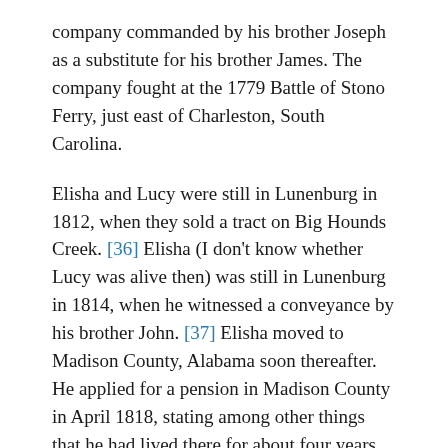company commanded by his brother Joseph as a substitute for his brother James. The company fought at the 1779 Battle of Stono Ferry, just east of Charleston, South Carolina.
Elisha and Lucy were still in Lunenburg in 1812, when they sold a tract on Big Hounds Creek. [36] Elisha (I don't know whether Lucy was alive then) was still in Lunenburg in 1814, when he witnessed a conveyance by his brother John. [37] Elisha moved to Madison County, Alabama soon thereafter. He applied for a pension in Madison County in April 1818, stating among other things that he had lived there for about four years. He also swore to facts establishing he was indigent, a requirement under the